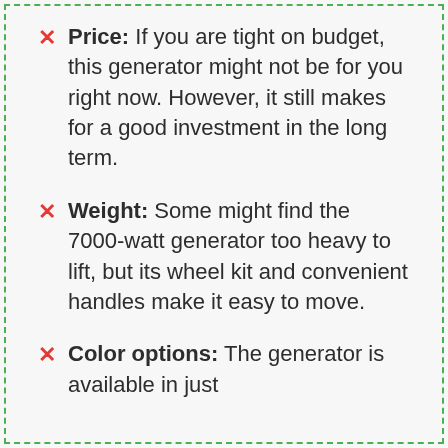Price: If you are tight on budget, this generator might not be for you right now. However, it still makes for a good investment in the long term.
Weight: Some might find the 7000-watt generator too heavy to lift, but its wheel kit and convenient handles make it easy to move.
Color options: The generator is available in just